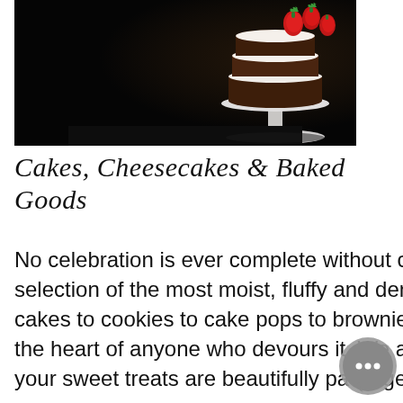[Figure (photo): Dark background photo of a layered chocolate cake topped with fresh strawberries on a white cake stand, photographed against a black background]
Cakes, Cheesecakes & Baked Goods
No celebration is ever complete without cake! Which is why we have curated a selection of the most moist, fluffy and dense cakes for your every need. From cakes to cookies to cake pops to brownies, our luscious baked goodies will steal the heart of anyone who devours it. We also take special care to make sure that your sweet treats are beautifully packaged and